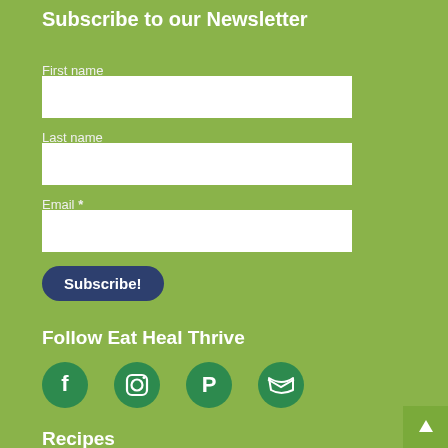Subscribe to our Newsletter
First name
Last name
Email *
Subscribe!
Follow Eat Heal Thrive
[Figure (other): Social media icons: Facebook, Instagram, Pinterest, Twitter in green circles]
Recipes